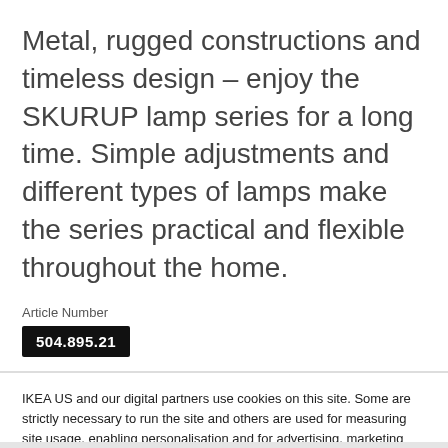Metal, rugged constructions and timeless design – enjoy the SKURUP lamp series for a long time. Simple adjustments and different types of lamps make the series practical and flexible throughout the home.
Article Number
504.895.21
IKEA US and our digital partners use cookies on this site. Some are strictly necessary to run the site and others are used for measuring site usage, enabling personalisation and for advertising, marketing and social media.
Cookie settings
Ok